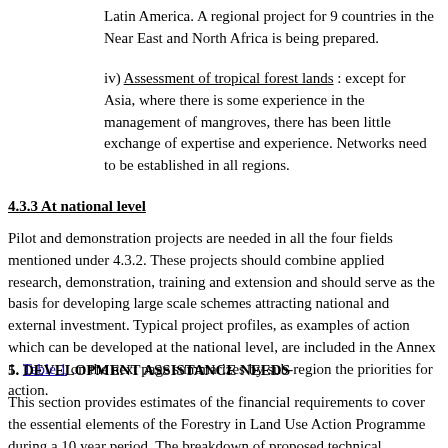Latin America. A regional project for 9 countries in the Near East and North Africa is being prepared.
iv) Assessment of tropical forest lands : except for Asia, where there is some experience in the management of mangroves, there has been little exchange of expertise and experience. Networks need to be established in all regions.
4.3.3 At national level
Pilot and demonstration projects are needed in all the four fields mentioned under 4.3.2. These projects should combine applied research, demonstration, training and extension and should serve as the basis for developing large scale schemes attracting national and external investment. Typical project profiles, as examples of action which can be developed at the national level, are included in the Annex 1. Table 1 on the next page summarizes by sub-region the priorities for action.
5. DEVELOPMENT ASSISTANCE NEEDS
This section provides estimates of the financial requirements to cover the essential elements of the Forestry in Land Use Action Programme during a 10 year period. The breakdown of proposed technical assistance activities, totalling US $ 770 million, is made